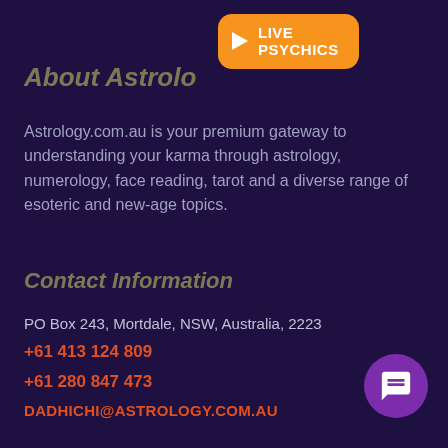[Figure (other): Orange 'LIVE PSYCHICS' button with play icon]
About Astrology
Astrology.com.au is your premium gateway to understanding your karma through astrology, numerology, face reading, tarot and a diverse range of esoteric and new-age topics.
Contact Information
PO Box 243, Mortdale, NSW, Australia, 2223
+61 413 124 809
+61 280 847 473
DADHICHI@ASTROLOGY.COM.AU
Latest News
[Figure (photo): Thumbnail photo for news article about problem solving]
TIPS FOR BETTER PROBLEM SOLVING
AUGUST 27, 2022
[Figure (other): Purple circular chat/message bubble icon button]